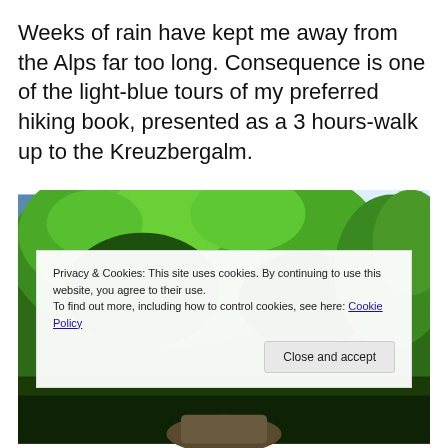Weeks of rain have kept me away from the Alps far too long. Consequence is one of the light-blue tours of my preferred hiking book, presented as a 3 hours-walk up to the Kreuzbergalm.
[Figure (photo): Lush green forest trees with sunlight filtering through, blue sky visible in upper right, path visible at bottom]
Privacy & Cookies: This site uses cookies. By continuing to use this website, you agree to their use.
To find out more, including how to control cookies, see here: Cookie Policy
Close and accept